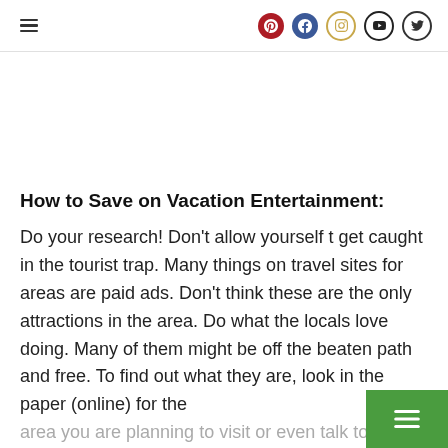Social media icons: Pinterest, Facebook, Instagram, YouTube, Twitter; hamburger menu
How to Save on Vacation Entertainment:
Do your research! Don't allow yourself t get caught in the tourist trap. Many things on travel sites for areas are paid ads. Don't think these are the only attractions in the area. Do what the locals love doing. Many of them might be off the beaten path and free. To find out what they are, look in the paper (online) for the area you are planning to visit or even talk to locals on message or forum boards. You can also looks for frugal, fun activities in